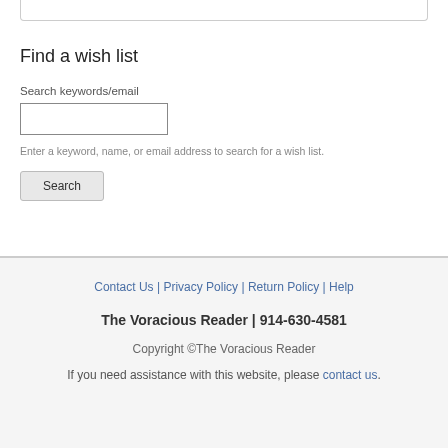Search keywords/email
Enter a keyword, name, or email address to search for a wish list.
Find a wish list
Search
Contact Us | Privacy Policy | Return Policy | Help
The Voracious Reader | 914-630-4581
Copyright ©The Voracious Reader
If you need assistance with this website, please contact us.